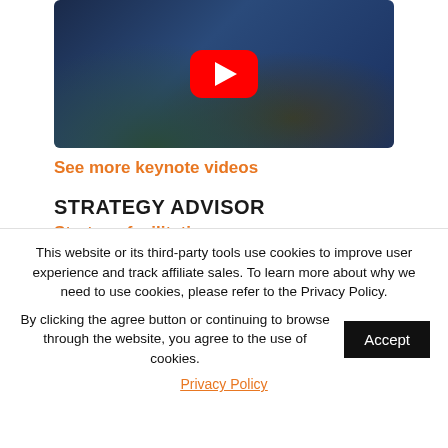[Figure (screenshot): YouTube video thumbnail showing a speaker in front of a dark blue background, with a red YouTube play button in the center]
See more keynote videos
STRATEGY ADVISOR
Strategy facilitation
This website or its third-party tools use cookies to improve user experience and track affiliate sales. To learn more about why we need to use cookies, please refer to the Privacy Policy.
By clicking the agree button or continuing to browse through the website, you agree to the use of cookies.
Privacy Policy